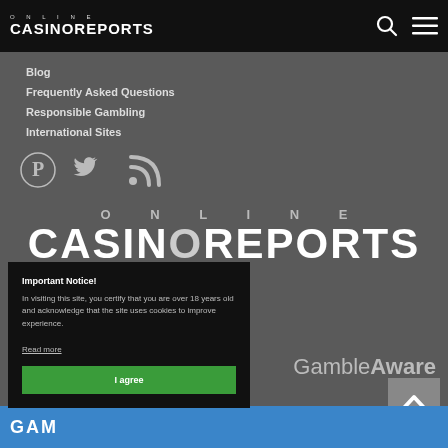ONLINE CASINOREPORTS
Blog
Frequently Asked Questions
Responsible Gambling
International Sites
[Figure (logo): Social media icons: Pinterest, Twitter, RSS feed]
[Figure (logo): Large ONLINE CASINOREPORTS logo in white text on dark background]
Important Notice! In visiting this site, you certify that you are over 18 years old and acknowledge that the site uses cookies to improve experience. Read more
I agree
GambleAware
[Figure (logo): GambleAware and GAMSTOP logos at bottom]
[Figure (other): Back to top button with up arrow chevron]